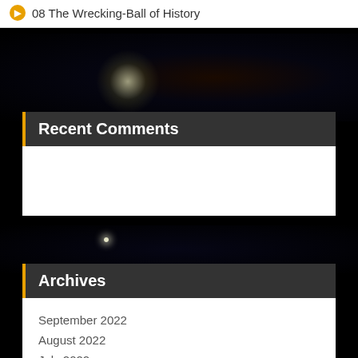08 The Wrecking-Ball of History
Recent Comments
Archives
September 2022
August 2022
July 2022
June 2022
May 2022
April 2022
March 2022
February 2022
January 2022